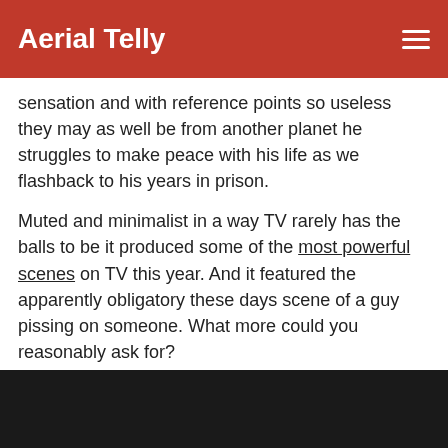Aerial Telly
sensation and with reference points so useless they may as well be from another planet he struggles to make peace with his life as we flashback to his years in prison.
Muted and minimalist in a way TV rarely has the balls to be it produced some of the most powerful scenes on TV this year. And it featured the apparently obligatory these days scene of a guy pissing on someone. What more could you reasonably ask for?
Worst show: The Following
[Figure (photo): Dark/black rectangular image placeholder at the bottom of the page]